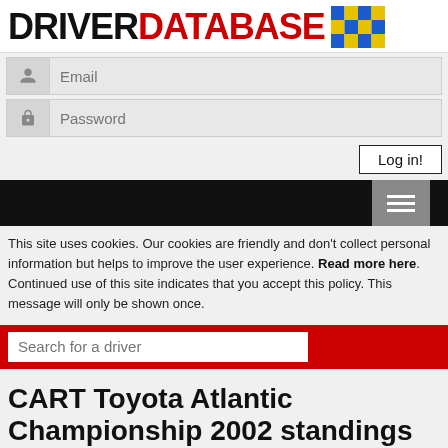DRIVERDATABASE
Email
Password
Log in!
This site uses cookies. Our cookies are friendly and don't collect personal information but helps to improve the user experience. Read more here. Continued use of this site indicates that you accept this policy. This message will only be shown once.
Search for a driver
CART Toyota Atlantic Championship 2002 standings
Championship points standings for the CART Toyota Atlantic